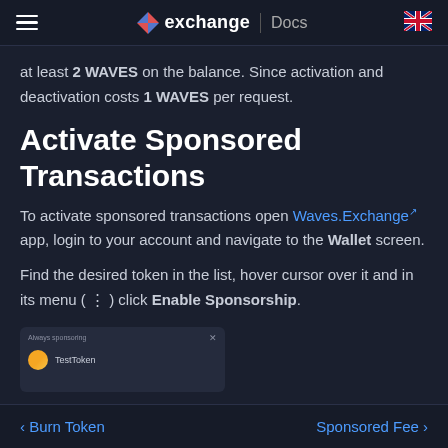exchange Docs
at least 2 WAVES on the balance. Since activation and deactivation costs 1 WAVES per request.
Activate Sponsored Transactions
To activate sponsored transactions open Waves.Exchange app, login to your account and navigate to the Wallet screen.
Find the desired token in the list, hover cursor over it and in its menu ( ⋮ ) click Enable Sponsorship.
[Figure (screenshot): Screenshot thumbnail showing a dialog with 'Always sponsoring' header and a TestToken entry with a coin icon.]
< Burn Token   Sponsored Fee >